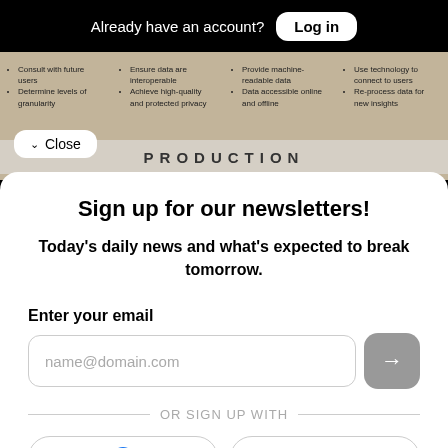Already have an account? Log in
[Figure (infographic): Background infographic strip showing data lifecycle columns with bullet points: Consult with future users, Determine levels of granularity; Ensure data are interoperable, Achieve high-quality and protected privacy; Provide machine-readable data, Data accessible online and offline; Use technology to connect to users, Re-process data for new insights]
PRODUCTION
Sign up for our newsletters!
Today's daily news and what's expected to break tomorrow.
Enter your email
name@domain.com
OR SIGN UP WITH